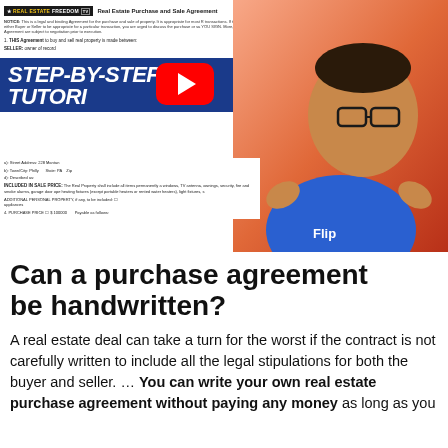[Figure (screenshot): YouTube video thumbnail showing a Real Estate Purchase and Sale Agreement document on the left with a 'STEP-BY-STEP TUTORIAL' banner overlay and a red YouTube play button, and a smiling man in a blue FlipSter shirt on the right with a pink/red gradient background, pointing at the camera.]
Can a purchase agreement be handwritten?
A real estate deal can take a turn for the worst if the contract is not carefully written to include all the legal stipulations for both the buyer and seller. … You can write your own real estate purchase agreement without paying any money as long as you